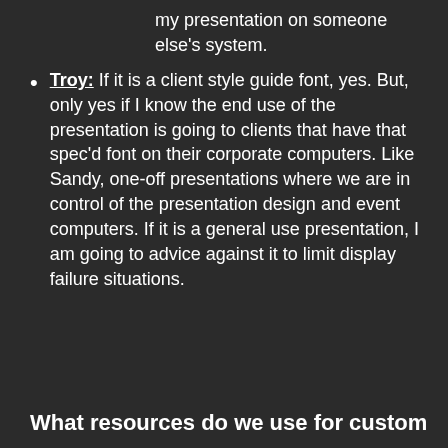my presentation on someone else's system.
Troy: If it is a client style guide font, yes. But, only yes if I know the end use of the presentation is going to clients that have that spec'd font on their corporate computers. Like Sandy, one-off presentations where we are in control of the presentation design and event computers. If it is a general use presentation, I am going to advice against it to limit display failure situations.
What resources do we use for custom